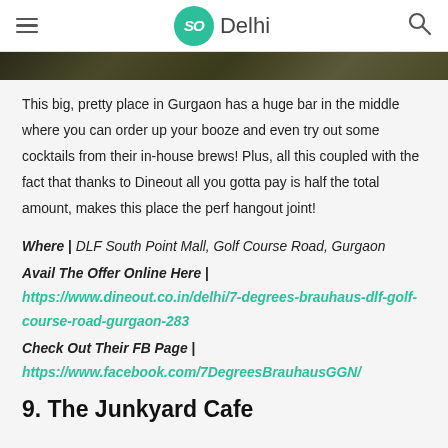SO Delhi
[Figure (photo): Dark decorative photo strip, partially visible at top of content area]
This big, pretty place in Gurgaon has a huge bar in the middle where you can order up your booze and even try out some cocktails from their in-house brews! Plus, all this coupled with the fact that thanks to Dineout all you gotta pay is half the total amount, makes this place the perf hangout joint!
Where | DLF South Point Mall, Golf Course Road, Gurgaon
Avail The Offer Online Here | https://www.dineout.co.in/delhi/7-degrees-brauhaus-dlf-golf-course-road-gurgaon-283
Check Out Their FB Page | https://www.facebook.com/7DegreesBrauhausGGN/
9. The Junkyard Cafe